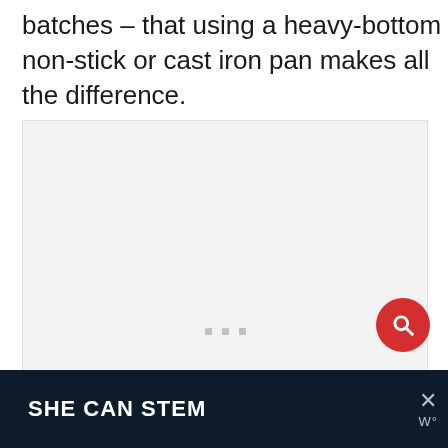batches – that using a heavy-bottom non-stick or cast iron pan makes all the difference.
[Figure (photo): Large light gray image placeholder area with three small gray square dots centered near the bottom, indicating an image carousel or loading placeholder.]
[Figure (other): Red circular search button with a white magnifying glass icon, positioned at the bottom right of the content area.]
SHE CAN STEM